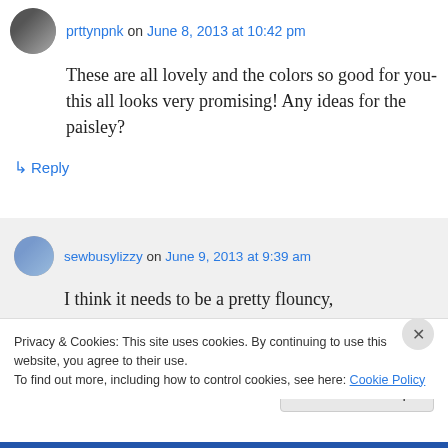prttynpnk on June 8, 2013 at 10:42 pm
These are all lovely and the colors so good for you- this all looks very promising! Any ideas for the paisley?
↳ Reply
sewbusylizzy on June 9, 2013 at 9:39 am
I think it needs to be a pretty flouncy,
Privacy & Cookies: This site uses cookies. By continuing to use this website, you agree to their use.
To find out more, including how to control cookies, see here: Cookie Policy
Close and accept